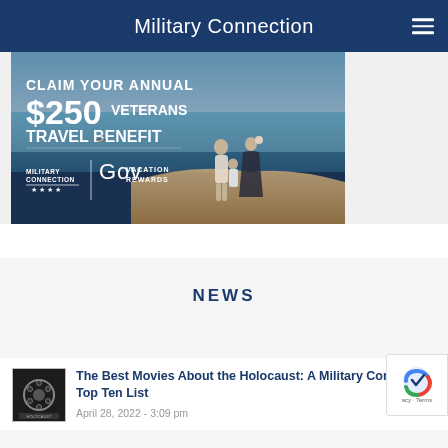Military Connection
[Figure (illustration): Advertisement banner: 'CLAIM YOUR ANNUAL $250 VETERANS TRAVEL BENEFIT' with Military Connection and Gov Vacation Rewards logos. Background shows a family (couple with two children) standing on a cliff overlooking the ocean.]
NEWS
[Figure (photo): Thumbnail image for article about Holocaust movies — small dark square with film-related imagery.]
The Best Movies About the Holocaust: A Military Connection Top Ten List
April 28, 2022 - 3:09 pm